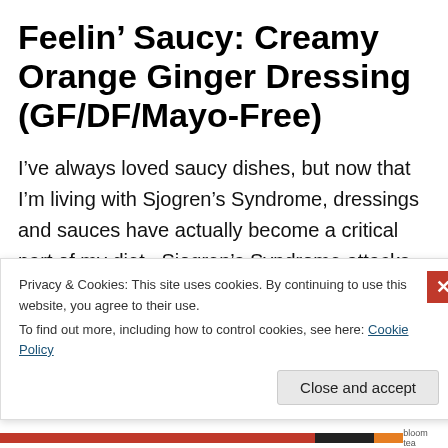Feelin' Saucy: Creamy Orange Ginger Dressing (GF/DF/Mayo-Free)
I've always loved saucy dishes, but now that I'm living with Sjogren's Syndrome, dressings and sauces have actually become a critical part of my diet.  Sjogren's Syndrome attacks the moisture-producing glands in the body, impacting the salivary glands and the entire digestive system.  Adding moisture and healthy fats to the food I eat
Privacy & Cookies: This site uses cookies. By continuing to use this website, you agree to their use.
To find out more, including how to control cookies, see here: Cookie Policy